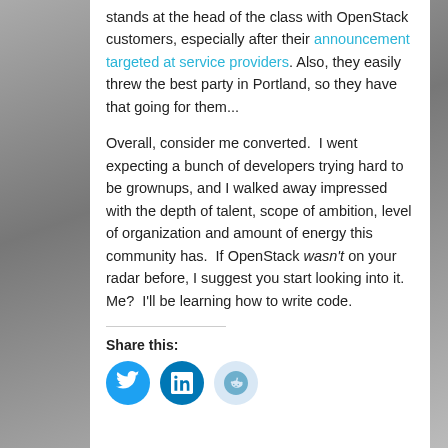stands at the head of the class with OpenStack customers, especially after their announcement targeted at service providers. Also, they easily threw the best party in Portland, so they have that going for them...
Overall, consider me converted.  I went expecting a bunch of developers trying hard to be grownups, and I walked away impressed with the depth of talent, scope of ambition, level of organization and amount of energy this community has.  If OpenStack wasn't on your radar before, I suggest you start looking into it.  Me?  I'll be learning how to write code.
Share this:
[Figure (infographic): Three social share buttons: Twitter (blue circle with bird icon), LinkedIn (blue circle with 'in' icon), Reddit (light blue circle with alien mascot icon)]